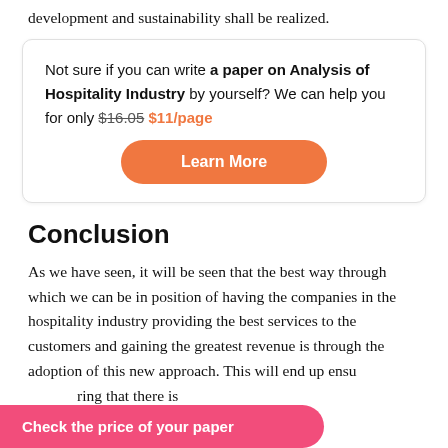development and sustainability shall be realized.
Not sure if you can write a paper on Analysis of Hospitality Industry by yourself? We can help you for only $16.05 $11/page
Learn More
Conclusion
As we have seen, it will be seen that the best way through which we can be in position of having the companies in the hospitality industry providing the best services to the customers and gaining the greatest revenue is through the adoption of this new approach. This will end up ensuring that there is which the client is
Check the price of your paper